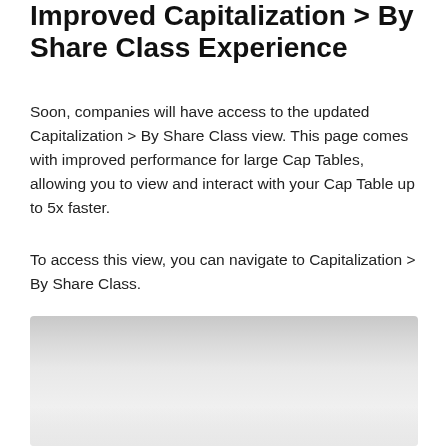Improved Capitalization > By Share Class Experience
Soon, companies will have access to the updated Capitalization > By Share Class view. This page comes with improved performance for large Cap Tables, allowing you to view and interact with your Cap Table up to 5x faster.
To access this view, you can navigate to Capitalization > By Share Class.
[Figure (screenshot): Screenshot of the Capitalization > By Share Class view interface, partially visible, showing a light gray UI panel.]